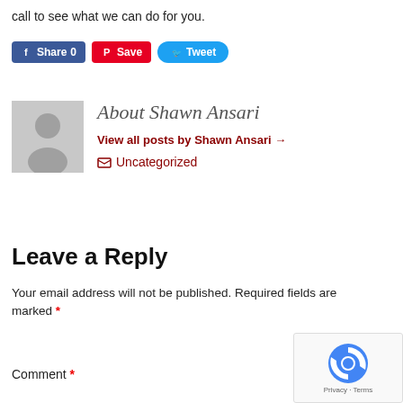call to see what we can do for you.
[Figure (other): Social sharing buttons: Facebook Share 0, Pinterest Save, Twitter Tweet]
[Figure (other): Author avatar placeholder (grey silhouette)]
About Shawn Ansari
View all posts by Shawn Ansari →
Uncategorized
Leave a Reply
Your email address will not be published. Required fields are marked *
Comment *
[Figure (other): reCAPTCHA widget with Privacy · Terms]